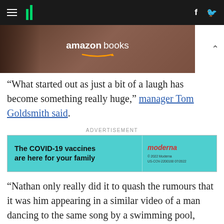HuffPost navigation bar with hamburger menu, logo bars, facebook and twitter icons
[Figure (photo): Amazon Books advertisement banner showing a person reading a book with 'amazon books' text overlay]
"What started out as just a bit of a laugh has become something really huge," manager Tom Goldsmith said.
ADVERTISEMENT
[Figure (other): Moderna COVID-19 vaccine advertisement: 'The COVID-19 vaccines are here for your family' with Moderna logo]
"Nathan only really did it to quash the rumours that it was him appearing in a similar video of a man dancing to the same song by a swimming pool, which also went viral."